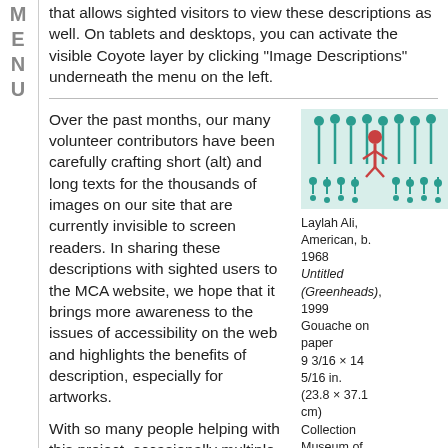M E N U
that allows sighted visitors to view these descriptions as well. On tablets and desktops, you can activate the visible Coyote layer by clicking “Image Descriptions” underneath the menu on the left.
Over the past months, our many volunteer contributors have been carefully crafting short (alt) and long texts for the thousands of images on our site that are currently invisible to screen readers. In sharing these descriptions with sighted users to the MCA website, we hope that it brings more awareness to the issues of accessibility on the web and highlights the benefits of description, especially for artworks.
[Figure (illustration): Abstract artwork showing stylized figures and dot patterns in teal/green tones on a light background]
Laylah Ali, American, b. 1968 Untitled (Greenheads), 1999 Gouache on paper 9 3/16 × 14 5/16 in. (23.8 × 37.1 cm) Collection Museum of Contemporary Art Chicago, The William R. Cook
With so many people helping with this project, occasionally multiple